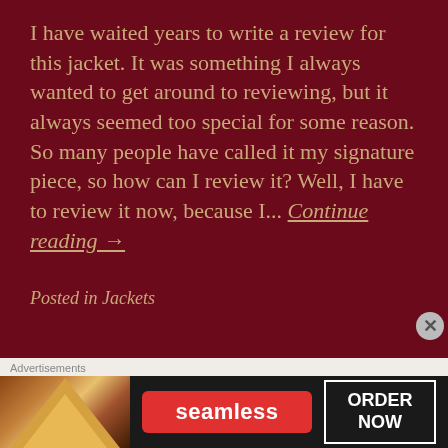I have waited years to write a review for this jacket. It was something I always wanted to get around to reviewing, but it always seemed too special for some reason. So many people have called it my signature piece, so how can I review it? Well, I have to review it now, because I... Continue reading →
Posted in Jackets
Freewheelers Leather Jacket Review: The
[Figure (screenshot): Advertisement banner showing Seamless food delivery service with pizza image, red Seamless badge, and ORDER NOW button on dark background]